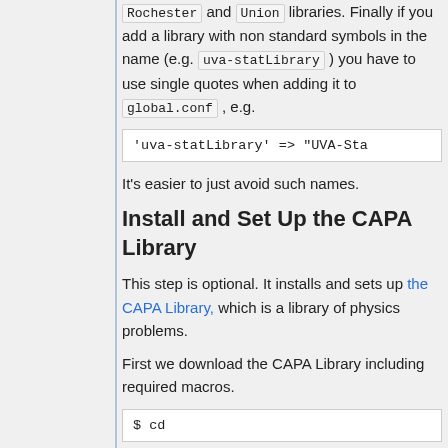Rochester and Union libraries. Finally if you add a library with non standard symbols in the name (e.g. uva-statLibrary ) you have to use single quotes when adding it to global.conf , e.g.
'uva-statLibrary' => "UVA-Sta
It's easier to just avoid such names.
Install and Set Up the CAPA Library
This step is optional. It installs and sets up the CAPA Library, which is a library of physics problems.
First we download the CAPA Library including required macros.
$ cd